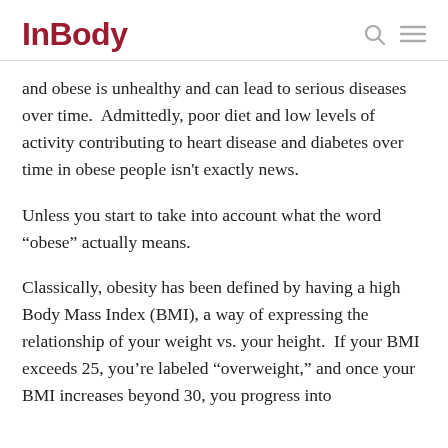InBody
and obese is unhealthy and can lead to serious diseases over time.  Admittedly, poor diet and low levels of activity contributing to heart disease and diabetes over time in obese people isn’t exactly news.
Unless you start to take into account what the word “obese” actually means.
Classically, obesity has been defined by having a high Body Mass Index (BMI), a way of expressing the relationship of your weight vs. your height.  If your BMI exceeds 25, you’re labeled “overweight,” and once your BMI increases beyond 30, you progress into